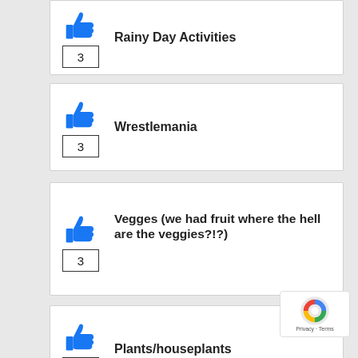Rainy Day Activities
Wrestlemania
Vegges (we had fruit where the hell are the veggies?!?)
Plants/houseplants
Mountain Day